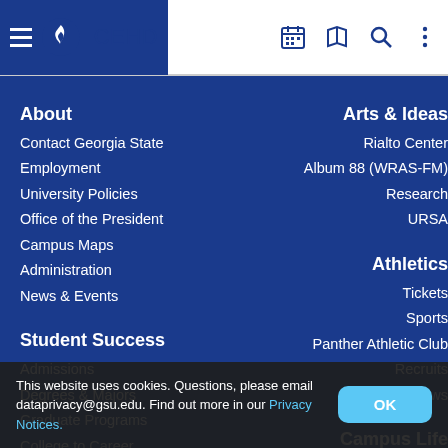CEHD
About
Contact Georgia State
Employment
University Policies
Office of the President
Campus Maps
Administration
News & Events
Student Success
Admissions
Degrees & Majors
Graduate Programs
College to Career
University Library
Arts & Ideas
Rialto Center
Album 88 (WRAS-FM)
Research
URSA
Athletics
Tickets
Sports
Panther Athletic Club
Recruits
News
Campus Life
Student Engagement
This website uses cookies. Questions, please email dataprivacy@gsu.edu. Find out more in our Privacy Notices.